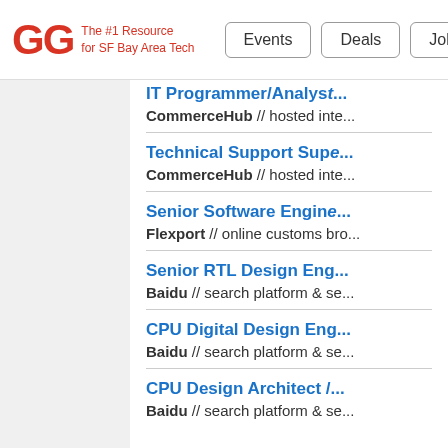GG The #1 Resource for SF Bay Area Tech | Events | Deals | Jobs
IT Programmer/Analyst - CommerceHub // hosted inte...
Technical Support Supe... - CommerceHub // hosted inte...
Senior Software Engine... - Flexport // online customs bro...
Senior RTL Design Eng... - Baidu // search platform & se...
CPU Digital Design Eng... - Baidu // search platform & se...
CPU Design Architect /... - Baidu // search platform & se...